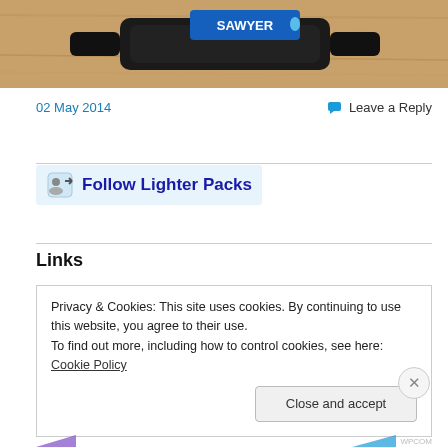[Figure (photo): Close-up photo of a Sawyer water filter on a wooden surface, showing the blue Sawyer logo on the black device body.]
02 May 2014
Leave a Reply
Follow Lighter Packs
Links
Privacy & Cookies: This site uses cookies. By continuing to use this website, you agree to their use.
To find out more, including how to control cookies, see here: Cookie Policy
Close and accept